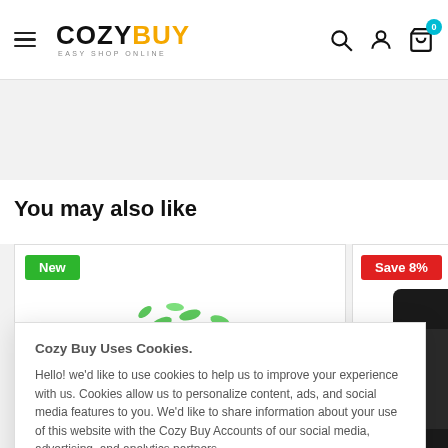COZYBUY — Easy Shop Online
You may also like
[Figure (photo): Product card with 'New' badge and air purifier/fan device image]
[Figure (photo): Product card with 'Save 8%' badge and partial dark device image]
Cozy Buy Uses Cookies.

Hello! we'd like to use cookies to help us to improve your experience with us. Cookies allow us to personalize content, ads, and social media features to you. We'd like to share information about your use of this website with the Cozy Buy Accounts of our social media, advertising, and analytics partners.
Accept